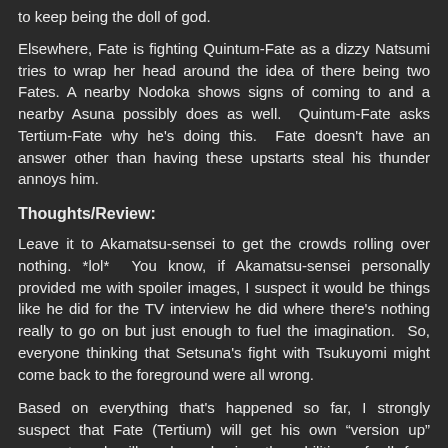to keep being the doll of god.
Elsewhere, Fate is fighting Quintum-Fate as a dizzy Natsumi tries to wrap her head around the idea of there being two Fates. A nearby Nodoka shows signs of coming to and a nearby Asuna possibly does as well.  Quintum-Fate asks Tertium-Fate why he's doing this.  Fate doesn't have an answer other than having these upstarts steal his thunder annoys him.
Thoughts/Review:
Leave it to Akamatsu-sensei to get the crowds rolling over nothing. *lol*  You know, if Akamatsu-sensei personally provided me with spoiler images, I suspect it would be things like he did for the TV interview he did where there's nothing really to go on but just enough to fuel the imagination.  So, everyone thinking that Setsuna's fight with Tsukuyomi might come back to the foreground were all wrong.
Based on everything that's happened so far, I strongly suspect that Fate (Tertium) will get his own "version up" moment and will end up having the abilities of all four elements rather than just earth as he has now.  That way he goes into a fight with Negi at a considerable higher power level.  We'll see if I'm right.